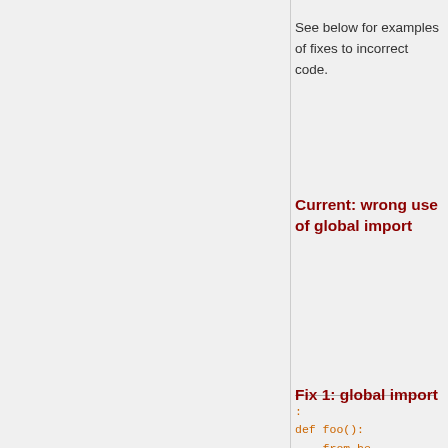See below for examples of fixes to incorrect code.
Current: wrong use of global import
:
def foo():
    from he
    x=SomeT
    return
Fix 1: global import